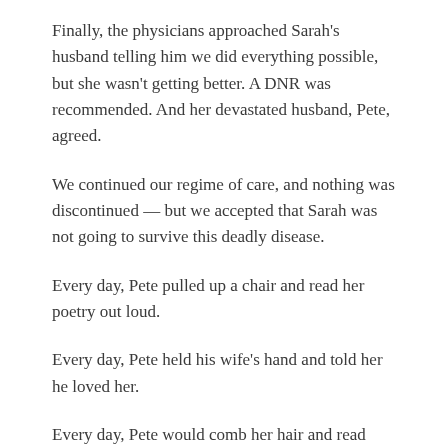Finally, the physicians approached Sarah's husband telling him we did everything possible, but she wasn't getting better. A DNR was recommended. And her devastated husband, Pete, agreed.
We continued our regime of care, and nothing was discontinued — but we accepted that Sarah was not going to survive this deadly disease.
Every day, Pete pulled up a chair and read her poetry out loud.
Every day, Pete held his wife's hand and told her he loved her.
Every day, Pete would comb her hair and read poetry to her.